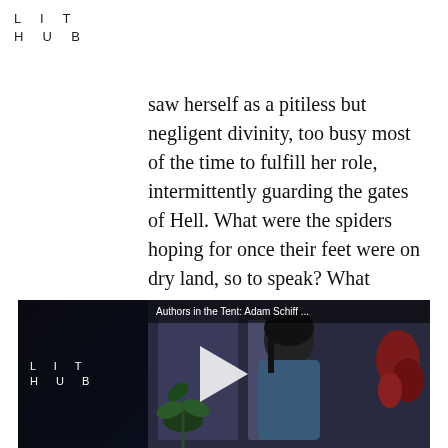LIT
HUB
saw herself as a pitiless but negligent divinity, too busy most of the time to fulfill her role, intermittently guarding the gates of Hell. What were the spiders hoping for once their feet were on dry land, so to speak? What journey had they decided to undertake, and with what purpose?
[Figure (screenshot): Video player thumbnail showing a person with dark hair, LIT HUB logo on left, title 'Authors in the Tent: Adam Schiff ...' at top right, play button in center, dark background with plants]